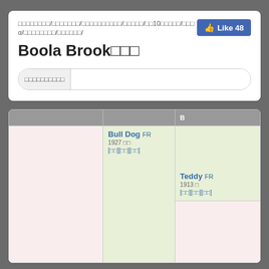□□□□□□□□/□□□□□□□/□□□□□□□□□□/□□□□□/□□10□□□□□/□□□α/□□□□□□□□/□□□□□□/
Boola Brook□□□
□□□□□□□□□□
|  |  | B |
| --- | --- | --- |
|  |  | Teddy FR
1913 □
[□□][□□][□□] |
|  | Bull Dog FR
1927 □□
[□□][□□][□□] |  |